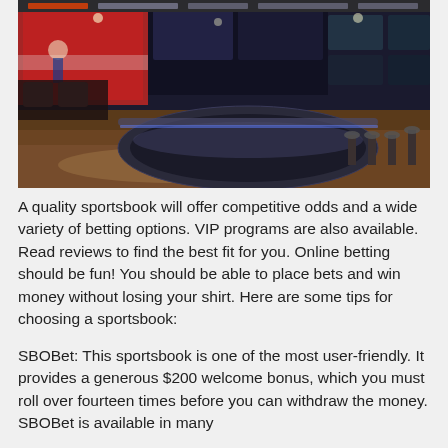[Figure (photo): Interior of a sportsbook venue with large curved betting counter, multiple large screen TVs showing sports, dark ambiance with wood floors.]
A quality sportsbook will offer competitive odds and a wide variety of betting options. VIP programs are also available. Read reviews to find the best fit for you. Online betting should be fun! You should be able to place bets and win money without losing your shirt. Here are some tips for choosing a sportsbook:
SBOBet: This sportsbook is one of the most user-friendly. It provides a generous $200 welcome bonus, which you must roll over fourteen times before you can withdraw the money. SBOBet is available in many